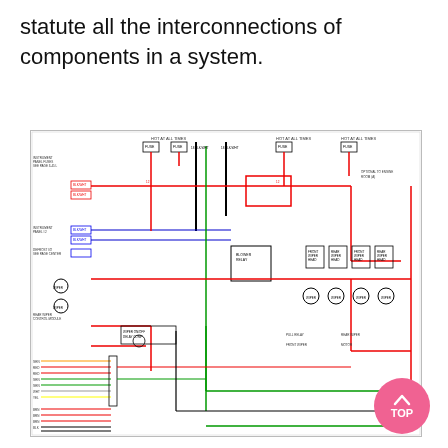statute all the interconnections of components in a system.
[Figure (schematic): Automotive wiring diagram showing interconnections of electrical components in a vehicle system. The diagram uses multiple colored wires (red, blue, green, black, yellow) connecting various components including relays, fuses, switches, and electrical modules. Components include instrument panel, blower relay, wiper motors, and various connectors with labeled wire gauges and circuit numbers.]